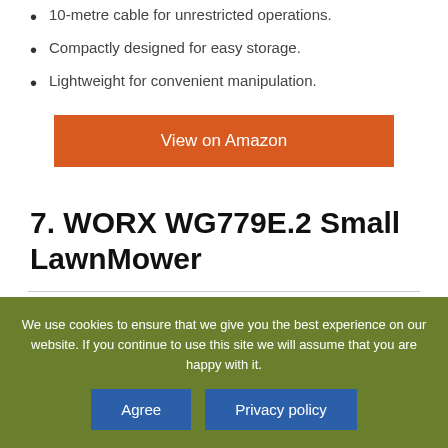10-metre cable for unrestricted operations.
Compactly designed for easy storage.
Lightweight for convenient manipulation.
View on Amazon
7. WORX WG779E.2 Small LawnMower
We use cookies to ensure that we give you the best experience on our website. If you continue to use this site we will assume that you are happy with it.
Agree
Privacy policy